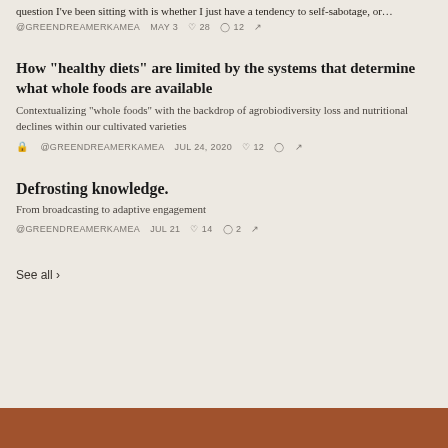question I've been sitting with is whether I just have a tendency to self-sabotage, or…
@GREENDREAMERKAMEA   MAY 3   ♡ 28   ◯ 12   ↗
How "healthy diets" are limited by the systems that determine what whole foods are available
Contextualizing "whole foods" with the backdrop of agrobiodiversity loss and nutritional declines within our cultivated varieties
🔒 @GREENDREAMERKAMEA   JUL 24, 2020   ♡ 12   ◯   ↗
Defrosting knowledge.
From broadcasting to adaptive engagement
@GREENDREAMERKAMEA   JUL 21   ♡ 14   ◯ 2   ↗
See all ›